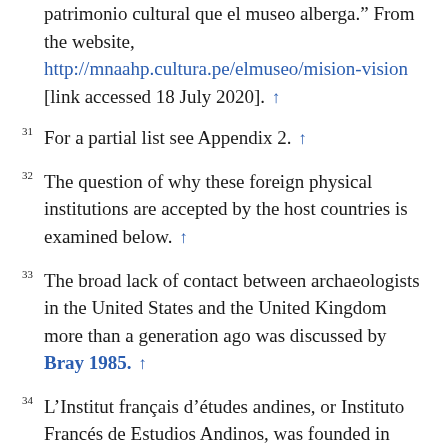patrimonio cultural que el museo alberga.” From the website, http://mnaahp.cultura.pe/elmuseo/mision-vision [link accessed 18 July 2020]. ↑
31 For a partial list see Appendix 2. ↑
32 The question of why these foreign physical institutions are accepted by the host countries is examined below. ↑
33 The broad lack of contact between archaeologists in the United States and the United Kingdom more than a generation ago was discussed by Bray 1985. ↑
34 L’Institut français d’études andines, or Instituto Francés de Estudios Andinos, was founded in 1948 in Lima, has its principal base in Peru and operates in these other three Andean nations. The Institute does